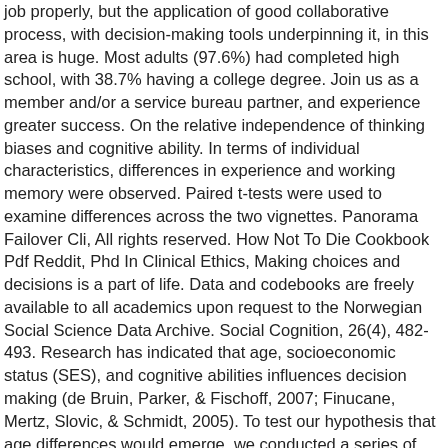job properly, but the application of good collaborative process, with decision-making tools underpinning it, in this area is huge. Most adults (97.6%) had completed high school, with 38.7% having a college degree. Join us as a member and/or a service bureau partner, and experience greater success. On the relative independence of thinking biases and cognitive ability. In terms of individual characteristics, differences in experience and working memory were observed. Paired t-tests were used to examine differences across the two vignettes. Panorama Failover Cli, All rights reserved. How Not To Die Cookbook Pdf Reddit, Phd In Clinical Ethics, Making choices and decisions is a part of life. Data and codebooks are freely available to all academics upon request to the Norwegian Social Science Data Archive. Social Cognition, 26(4), 482-493. Research has indicated that age, socioeconomic status (SES), and cognitive abilities influences decision making (de Bruin, Parker, & Fischoff, 2007; Finucane, Mertz, Slovic, & Schmidt, 2005). To test our hypothesis that age differences would emerge, we conducted a series of one-way analysis of variance tests